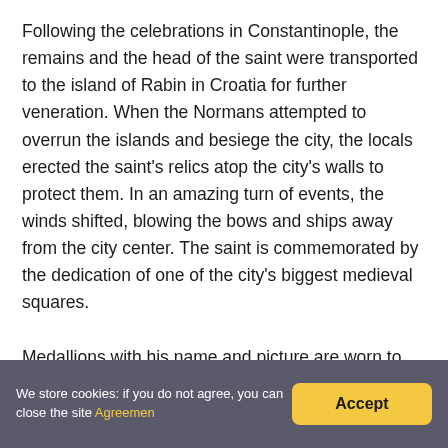Following the celebrations in Constantinople, the remains and the head of the saint were transported to the island of Rabin in Croatia for further veneration. When the Normans attempted to overrun the islands and besiege the city, the locals erected the saint's relics atop the city's walls to protect them. In an amazing turn of events, the winds shifted, blowing the bows and ships away from the city center. The saint is commemorated by the dedication of one of the city's biggest medieval squares.
Medallions with his name and picture are worn to the...
We store cookies: if you do not agree, you can close the site Agreemen  Accept